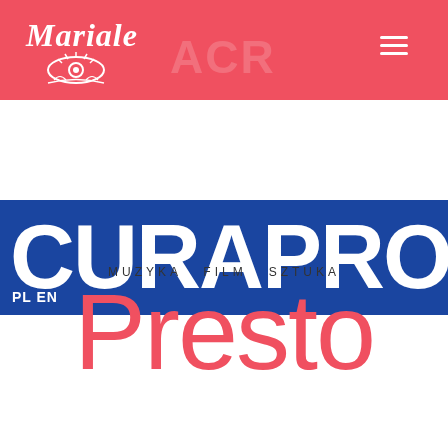[Figure (logo): Mariale brand logo — cursive 'Mariale' text with decorative eye and floral/leaf design below, white on coral/red background]
[Figure (logo): CURAPROX brand banner — large white bold text 'CURAPROX' on dark blue background, with 'PL EN' language selector below]
MUZYKA  FILM  SZTUKA
Presto